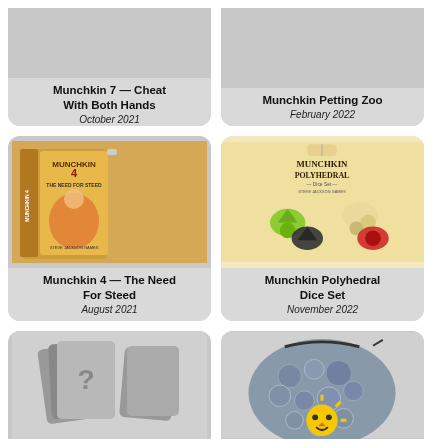[Figure (photo): Munchkin 7 product card with image cut at top]
Munchkin 7 — Cheat With Both Hands
October 2021
[Figure (photo): Munchkin Petting Zoo product card with image cut at top]
Munchkin Petting Zoo
February 2022
[Figure (photo): Munchkin 4 The Need For Steed box art]
Munchkin 4 — The Need For Steed
August 2021
[Figure (photo): Munchkin Polyhedral Dice Set with colorful polyhedral dice]
Munchkin Polyhedral Dice Set
November 2022
[Figure (photo): Unknown Munchkin product with question mark cards, cut at bottom]
[Figure (photo): Munchkin dice bag product, cut at bottom]